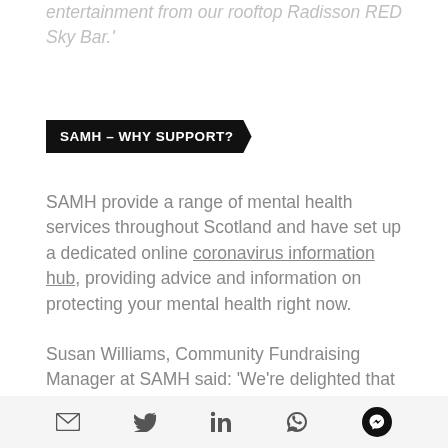entertainment from our rooftop Radisson RED Sky Bar.'
SAMH – WHY SUPPORT?
SAMH provide a range of mental health services throughout Scotland and have set up a dedicated online coronavirus information hub, providing advice and information on protecting your mental health right now.
Susan Williams, Community Fundraising Manager at SAMH said: 'We're delighted that Colours have decided to fundraise for SAMH. This event is a
social share icons: email, twitter, linkedin, whatsapp, messenger